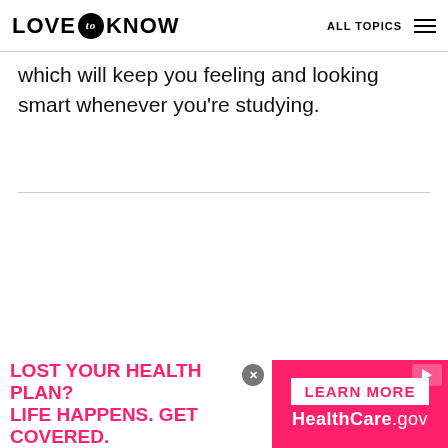LOVE TO KNOW  ALL TOPICS
which will keep you feeling and looking smart whenever you're studying.
[Figure (infographic): Advertisement banner: Left side white background with pink bold text 'LOST YOUR HEALTH PLAN? LIFE HAPPENS. GET COVERED.' Right side pink background with white 'LEARN MORE' button and 'HealthCare.gov' text in white.]